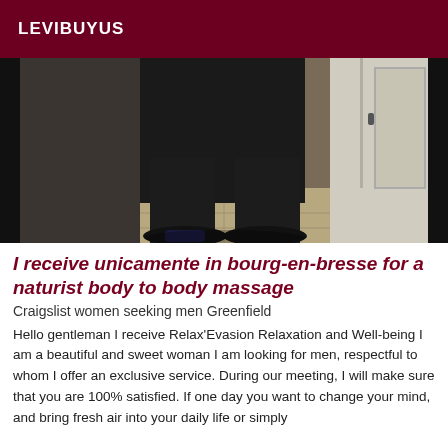LEVIBUYUS
[Figure (photo): Dark photo showing lower body/legs of a person standing on a tiled floor, with a door visible on the right side]
I receive unicamente in bourg-en-bresse for a naturist body to body massage
Craigslist women seeking men Greenfield
Hello gentleman I receive Relax'Evasion Relaxation and Well-being I am a beautiful and sweet woman I am looking for men, respectful to whom I offer an exclusive service. During our meeting, I will make sure that you are 100% satisfied. If one day you want to change your mind, and bring fresh air into your daily life or simply